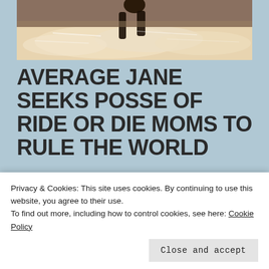[Figure (photo): Sepia-toned photo showing a person riding a horse splashing through water or rough terrain, viewed from above/behind.]
AVERAGE JANE SEEKS POSSE OF RIDE OR DIE MOMS TO RULE THE WORLD
I am not a weirdo. Let's just get that out there right away so nobody has this crazy idea the reason I've had difficulty locking down a group of close friends is due to overt weirdness. I'm not a sneaky sniffer of someone's yard, and ended up eating on their family sooner.
Privacy & Cookies: This site uses cookies. By continuing to use this website, you agree to their use.
To find out more, including how to control cookies, see here: Cookie Policy
Close and accept